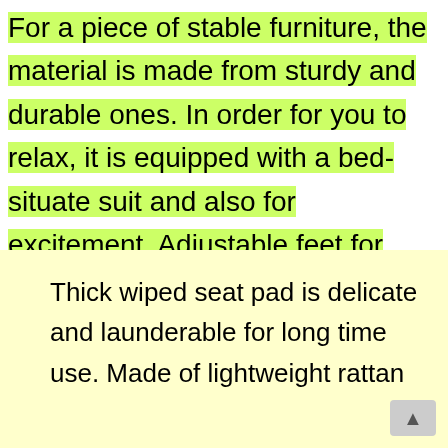For a piece of stable furniture, the material is made from sturdy and durable ones. In order for you to relax, it is equipped with a bed-situate suit and also for excitement. Adjustable feet for balancing and holding drink or food. The modern and stylish design is the perfect choice for the garden, apartment or patio.
Thick wiped seat pad is delicate and launderable for long time use. Made of lightweight rattan